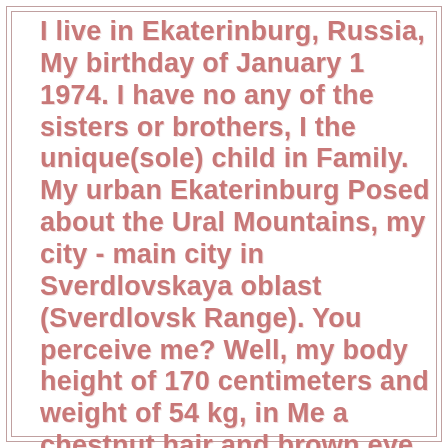I live in Ekaterinburg, Russia, My birthday of January 1 1974. I have no any of the sisters or brothers, I the unique(sole) child in Family. My urban Ekaterinburg Posed about the Ural Mountains, my city - main city in Sverdlovskaya oblast (Sverdlovsk Range). You perceive me? Well, my body height of 170 centimeters and weight of 54 kg, in Me a chestnut hair and brown eye. Now in me length of a hair is long, I think you, all this sees on My photos. I shall send certainly you even a lot of my photos. Please, send to